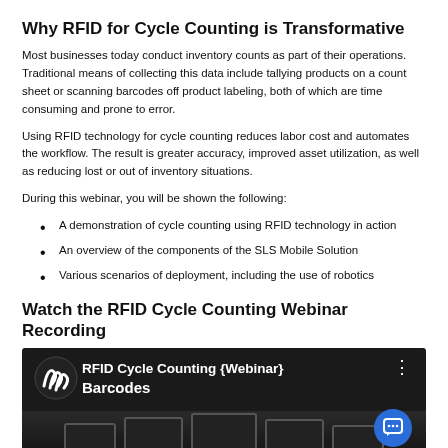Why RFID for Cycle Counting is Transformative
Most businesses today conduct inventory counts as part of their operations. Traditional means of collecting this data include tallying products on a count sheet or scanning barcodes off product labeling, both of which are time consuming and prone to error.
Using RFID technology for cycle counting reduces labor cost and automates the workflow. The result is greater accuracy, improved asset utilization, as well as reducing lost or out of inventory situations.
During this webinar, you will be shown the following:
A demonstration of cycle counting using RFID technology in action
An overview of the components of the SLS Mobile Solution
Various scenarios of deployment, including the use of robotics
Watch the RFID Cycle Counting Webinar Recording
[Figure (screenshot): Video thumbnail for RFID Cycle Counting Webinar with dark background showing mobile devices and a chat button overlay. Text reads 'RFID Cycle Counting {Webinar}' and 'Barcodes'.]